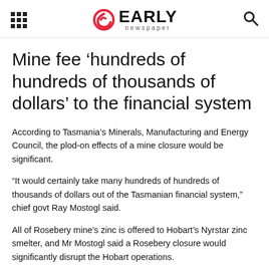EARLY newspaper
Mine fee ‘hundreds of hundreds of thousands of dollars’ to the financial system
According to Tasmania’s Minerals, Manufacturing and Energy Council, the plod-on effects of a mine closure would be significant.
“It would certainly take many hundreds of hundreds of thousands of dollars out of the Tasmanian financial system,” chief govt Ray Mostogl said.
All of Rosebery mine’s zinc is offered to Hobart’s Nyrstar zinc smelter, and Mr Mostogl said a Rosebery closure would significantly disrupt the Hobart operations.